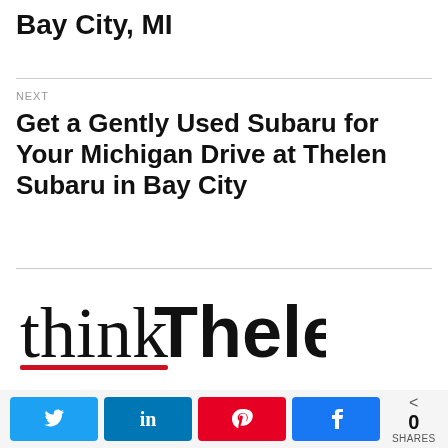Bay City, MI
NEXT
Get a Gently Used Subaru for Your Michigan Drive at Thelen Subaru in Bay City
[Figure (logo): thinkThelen logo in black serif/sans-serif text with a red underline accent]
0 SHARES — social share bar with Twitter, LinkedIn, Pinterest, Facebook buttons